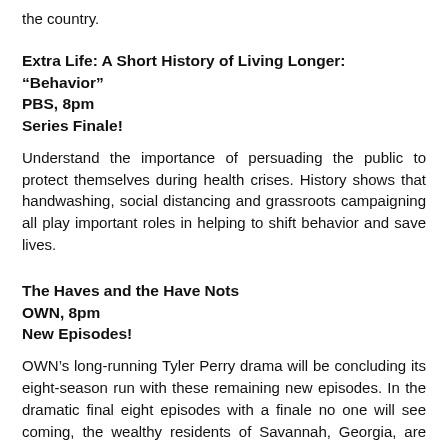the country.
Extra Life: A Short History of Living Longer: “Behavior”
PBS, 8pm
Series Finale!
Understand the importance of persuading the public to protect themselves during health crises. History shows that handwashing, social distancing and grassroots campaigning all play important roles in helping to shift behavior and save lives.
The Haves and the Have Nots
OWN, 8pm
New Episodes!
OWN’s long-running Tyler Perry drama will be concluding its eight-season run with these remaining new episodes. In the dramatic final eight episodes with a finale no one will see coming, the wealthy residents of Savannah, Georgia, are involved in a true-to-life Greek tragedy as Judge Jim Cryer (Schneider) and his rich friends find out what happens when personal flaws go unchecked. Karma has not been kind to the